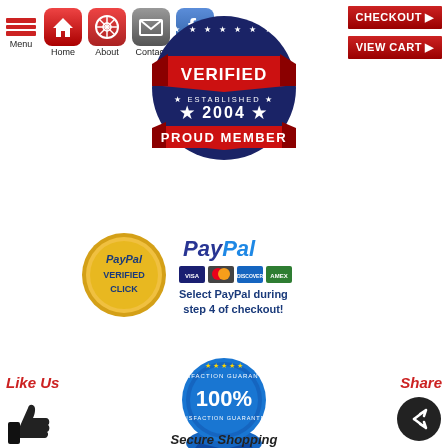[Figure (screenshot): Navigation bar with hamburger menu, Home, About, Contact, Like Us icons, and Checkout/View Cart buttons]
[Figure (logo): Verified - Established 2004 - Proud Member badge in red/white/blue]
[Figure (logo): PayPal Verified seal (gold) and PayPal with credit card logos with text: Select PayPal during step 4 of checkout!]
[Figure (logo): 100% Satisfaction Guaranteed blue badge]
Like Us
Share
[Figure (illustration): Thumbs up Like icon]
[Figure (illustration): Share/forward circular icon]
Secure Shopping